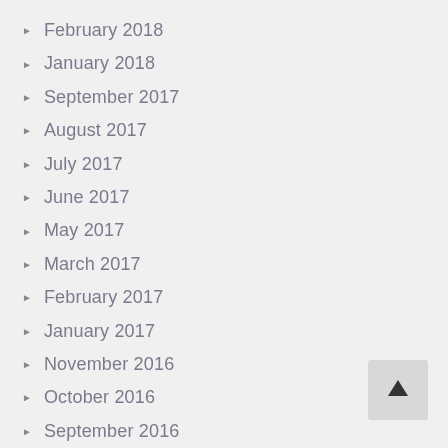February 2018
January 2018
September 2017
August 2017
July 2017
June 2017
May 2017
March 2017
February 2017
January 2017
November 2016
October 2016
September 2016
August 2016
July 2016